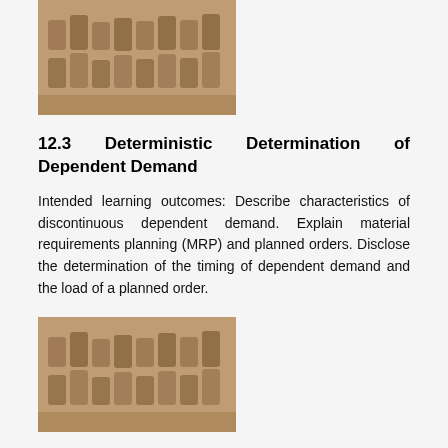[Figure (photo): Industrial parts or clay molds arranged in rows, brownish-tan color, photographed from above at an angle.]
12.3 Deterministic Determination of Dependent Demand
Intended learning outcomes: Describe characteristics of discontinuous dependent demand. Explain material requirements planning (MRP) and planned orders. Disclose the determination of the timing of dependent demand and the load of a planned order.
[Figure (photo): Industrial parts or clay molds arranged in rows, brownish-tan color, photographed from above at an angle.]
12.4 Batch Sizing, or Lot Sizing
Intended learning outcomes: Explain combining net